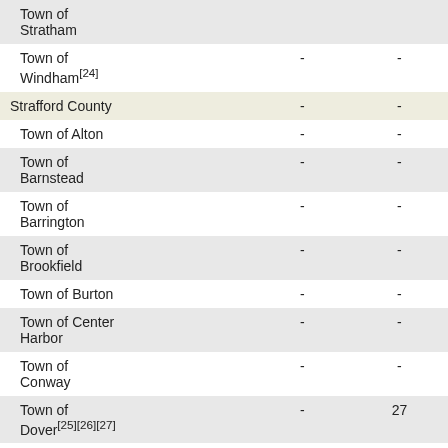| Name | Col1 | Col2 |
| --- | --- | --- |
| Town of Stratham |  |  |
| Town of Windham[24] | - | - |
| Strafford County | - | - |
| Town of Alton | - | - |
| Town of Barnstead | - | - |
| Town of Barrington | - | - |
| Town of Brookfield | - | - |
| Town of Burton | - | - |
| Town of Center Harbor | - | - |
| Town of Conway | - | - |
| Town of Dover[25][26][27] | - | 27 |
| Town of Durham | - | - |
| Town of Eaton | - | - |
| Town of Effingham | - | - |